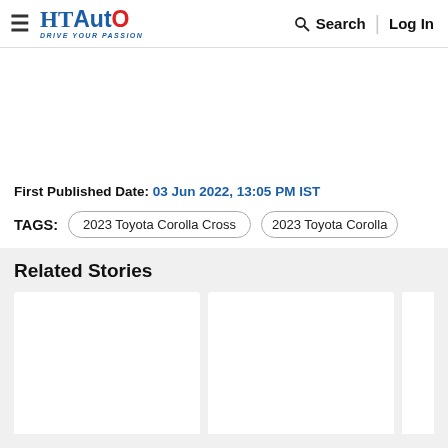HT Auto - Drive Your Passion | Search | Log In
First Published Date: 03 Jun 2022, 13:05 PM IST
TAGS: 2023 Toyota Corolla Cross | 2023 Toyota Corolla
Related Stories